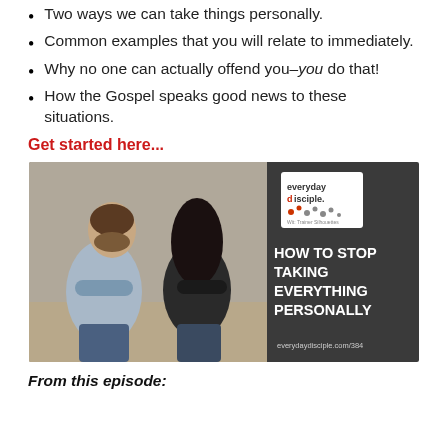Two ways we can take things personally.
Common examples that you will relate to immediately.
Why no one can actually offend you–you do that!
How the Gospel speaks good news to these situations.
Get started here...
[Figure (infographic): Podcast thumbnail showing a man and woman sitting back-to-back with arms crossed, with dark panel on right showing 'everyday disciple.' logo and text 'HOW TO STOP TAKING EVERYTHING PERSONALLY' and URL 'everydaydisciple.com/384']
From this episode: